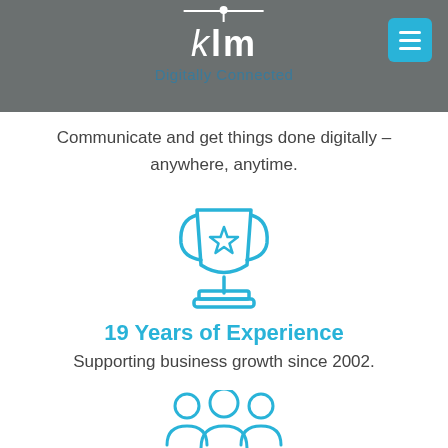klm — Digitally Connected
Communicate and get things done digitally – anywhere, anytime.
[Figure (illustration): Trophy/cup icon with a star in the center, rendered as a blue outline illustration]
19 Years of Experience
Supporting business growth since 2002.
[Figure (illustration): Group of three people / team icon, rendered as a blue outline illustration]